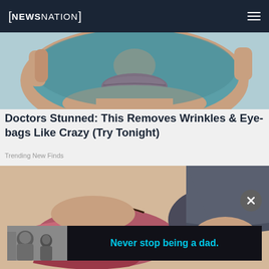[Figure (screenshot): NewsNation website navigation bar with logo on left and hamburger menu on right, dark navy blue background]
[Figure (photo): Close-up photo of a person's face with a blue/teal face mask applied, showing lips and lower face]
Doctors Stunned: This Removes Wrinkles & Eye-bags Like Crazy (Try Tonight)
Trending New Finds
[Figure (photo): Photo of feet wearing pink/rose colored sandal shoes with ankle bracelets, one with turquoise beads]
[Figure (photo): Advertisement banner: black and white photo of a father and child with text 'Never stop being a dad.' in cyan on dark background]